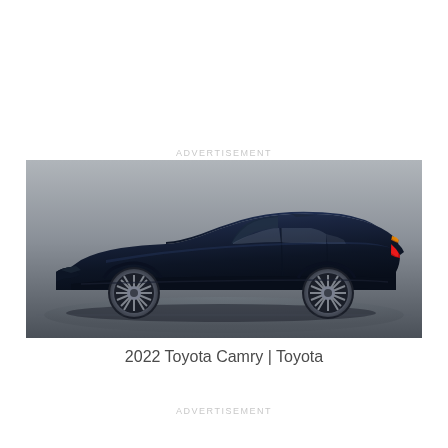ADVERTISEMENT
[Figure (photo): Side profile view of a 2022 Toyota Camry in dark navy blue color on a grey gradient studio background. The car is shown from the left side, displaying its sleek sedan body, multi-spoke alloy wheels, red tail light glow, and orange rear turn signal. The background transitions from light grey at the top to darker grey at the bottom.]
2022 Toyota Camry | Toyota
ADVERTISEMENT